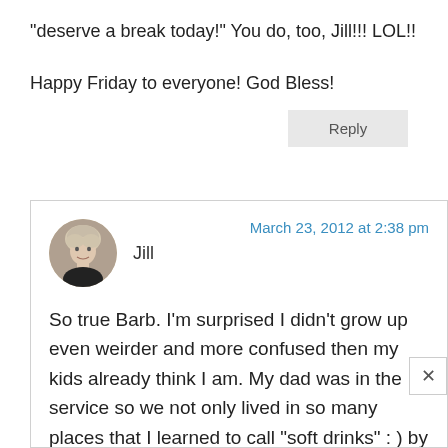“deserve a break today!” You do, too, Jill!!! LOL!!

Happy Friday to everyone! God Bless!
Reply
Jill
March 23, 2012 at 2:38 pm
So true Barb. I’m surprised I didn’t grow up even weirder and more confused then my kids already think I am. My dad was in the service so we not only lived in so many places that I learned to call “soft drinks” : ) by the regional name but we also had friends from all over who each called it something different.